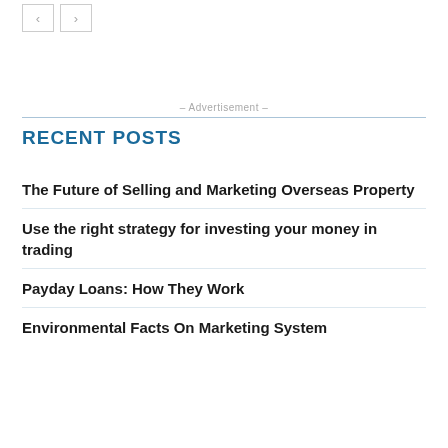- Advertisement -
RECENT POSTS
The Future of Selling and Marketing Overseas Property
Use the right strategy for investing your money in trading
Payday Loans: How They Work
Environmental Facts On Marketing System